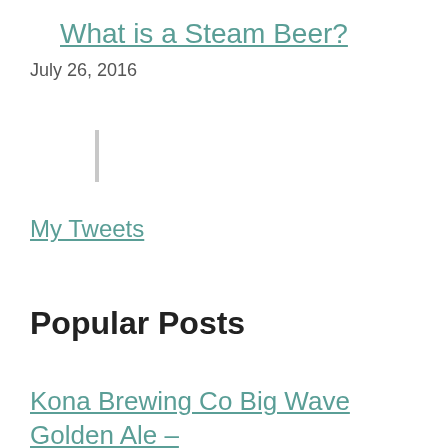What is a Steam Beer?
July 26, 2016
My Tweets
Popular Posts
Kona Brewing Co Big Wave Golden Ale – Beer Review